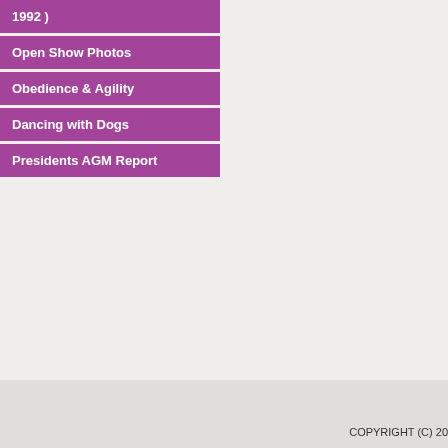1992 )
Open Show Photos
Obedience & Agility
Dancing with Dogs
Presidents AGM Report
around. The breed offers a variety of mahogany (shaded) sable, individual white markings. The Sheltie is a healthy hap Many people who have cho the breeder enquiring after Please take the opportunity this wonderful breed. Shelties can be viewed mos Canine Centre corner of Ra Written by:- Mrs Cherri Fra
COPYRIGHT (C) 20